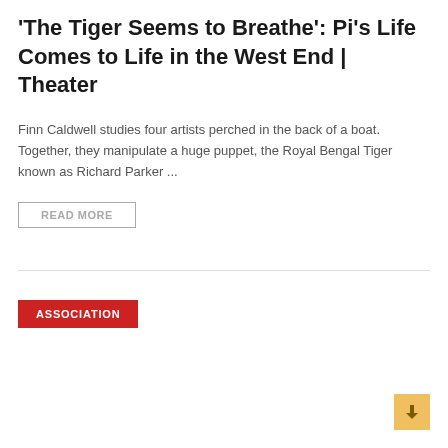'The Tiger Seems to Breathe': Pi's Life Comes to Life in the West End | Theater
Finn Caldwell studies four artists perched in the back of a boat. Together, they manipulate a huge puppet, the Royal Bengal Tiger known as Richard Parker ...
READ MORE
ASSOCIATION